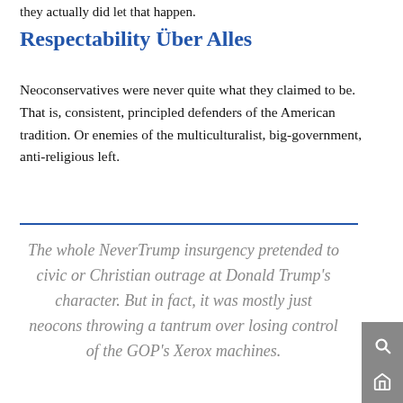they actually did let that happen.
Respectability Über Alles
Neoconservatives were never quite what they claimed to be. That is, consistent, principled defenders of the American tradition. Or enemies of the multiculturalist, big-government, anti-religious left.
The whole NeverTrump insurgency pretended to civic or Christian outrage at Donald Trump's character. But in fact, it was mostly just neocons throwing a tantrum over losing control of the GOP's Xerox machines.